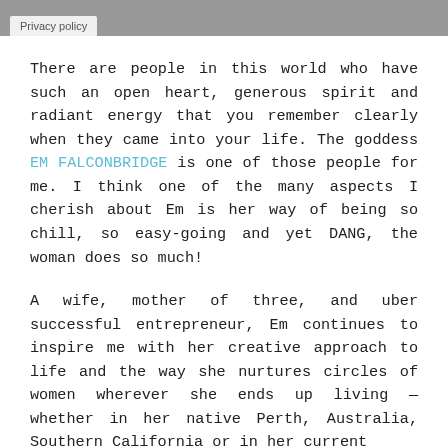Privacy policy
There are people in this world who have such an open heart, generous spirit and radiant energy that you remember clearly when they came into your life. The goddess EM FALCONBRIDGE is one of those people for me. I think one of the many aspects I cherish about Em is her way of being so chill, so easy-going and yet DANG, the woman does so much!
A wife, mother of three, and uber successful entrepreneur, Em continues to inspire me with her creative approach to life and the way she nurtures circles of women wherever she ends up living — whether in her native Perth, Australia, Southern California or in her current